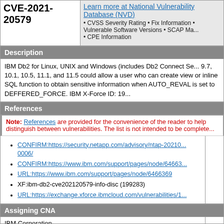CVE-2021-20579
Learn more at National Vulnerability Database (NVD) • CVSS Severity Rating • Fix Information • Vulnerable Software Versions • SCAP Ma... • CPE Information
Description
IBM Db2 for Linux, UNIX and Windows (includes Db2 Connect Se... 9.7, 10.1, 10.5, 11.1, and 11.5 could allow a user who can create view or inline SQL function to obtain sensitive information when AUTO_REVAL is set to DEFFERED_FORCE. IBM X-Force ID: 19...
References
Note: References are provided for the convenience of the reader to help distinguish between vulnerabilities. The list is not intended to be complete...
CONFIRM:https://security.netapp.com/advisory/ntap-20210... 0006/
CONFIRM:https://www.ibm.com/support/pages/node/64663...
URL:https://www.ibm.com/support/pages/node/6466369
XF:ibm-db2-cve202120579-info-disc (199283)
URL:https://exchange.xforce.ibmcloud.com/vulnerabilities/1...
Assigning CNA
IBM Corporation